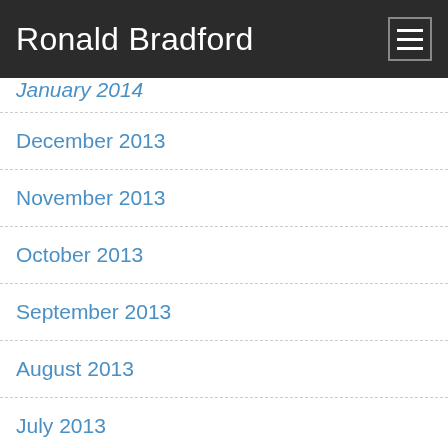Ronald Bradford
January 2014
December 2013
November 2013
October 2013
September 2013
August 2013
July 2013
June 2013
May 2013
February 2013